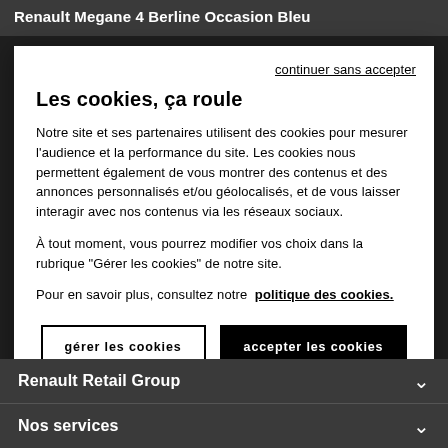Renault Megane 4 Berline Occasion Bleu
continuer sans accepter
Les cookies, ça roule
Notre site et ses partenaires utilisent des cookies pour mesurer l'audience et la performance du site. Les cookies nous permettent également de vous montrer des contenus et des annonces personnalisés et/ou géolocalisés, et de vous laisser interagir avec nos contenus via les réseaux sociaux.
À tout moment, vous pourrez modifier vos choix dans la rubrique "Gérer les cookies" de notre site.
Pour en savoir plus, consultez notre  politique des cookies.
gérer les cookies
accepter les cookies
Renault Retail Group
Nos services